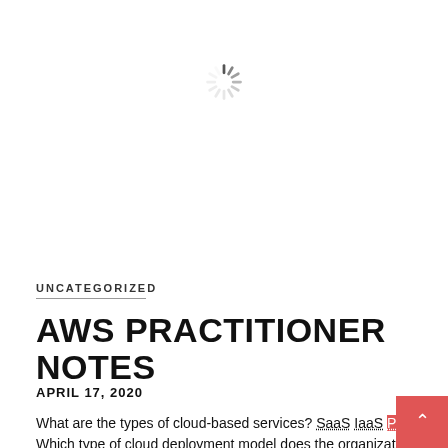[Figure (other): Loading spinner icon centered near top of page]
UNCATEGORIZED
AWS PRACTITIONER NOTES
APRIL 17, 2020
What are the types of cloud-based services? SaaS IaaS PaaS Which type of cloud deployment model does the organization